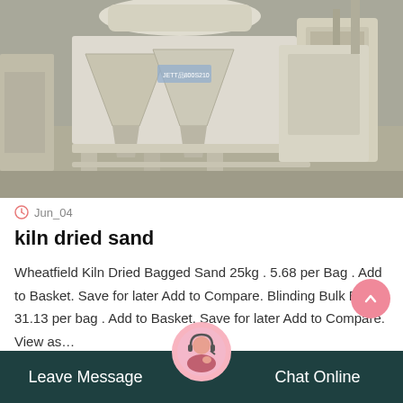[Figure (photo): Industrial sand-making or crushing machine (cone crusher / VSI sand maker) in cream/white color, sitting in a factory or warehouse setting. Multiple hopper/chute components visible. Label text 'JETT品800S210' visible on machine.]
Jun_04
kiln dried sand
Wheatfield Kiln Dried Bagged Sand 25kg . 5.68 per Bag . Add to Basket. Save for later Add to Compare. Blinding Bulk Bag. 31.13 per bag . Add to Basket. Save for later Add to Compare. View as…
Leave Message   Chat Online